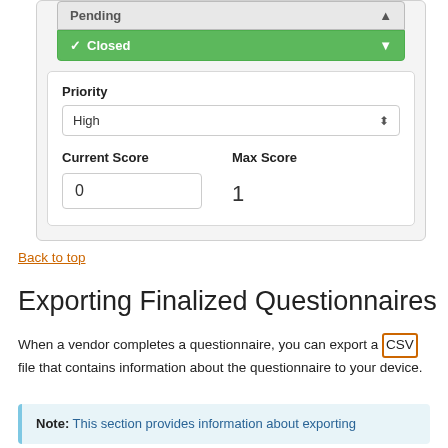[Figure (screenshot): Screenshot of a form UI showing a dropdown with 'Pending' and 'Closed' (checked, green) options, a Priority field set to 'High', and Current Score (0) and Max Score (1) fields.]
Back to top
Exporting Finalized Questionnaires
When a vendor completes a questionnaire, you can export a CSV file that contains information about the questionnaire to your device.
Note: This section provides information about exporting